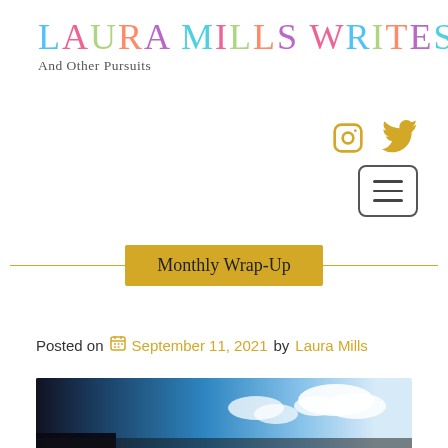LAURA MILLS WRITES
And Other Pursuits
[Figure (illustration): Instagram and Twitter social media icons in golden/yellow color]
[Figure (illustration): Hamburger menu button with three horizontal lines inside a rounded rectangle border]
Monthly Wrap-Up
Posted on  September 11, 2021 by  Laura Mills
[Figure (photo): Bottom portion of a photo showing a blue sky with clouds and a dark foreground at the bottom]